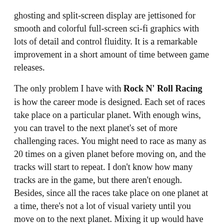ghosting and split-screen display are jettisoned for smooth and colorful full-screen sci-fi graphics with lots of detail and control fluidity. It is a remarkable improvement in a short amount of time between game releases.
The only problem I have with Rock N' Roll Racing is how the career mode is designed. Each set of races take place on a particular planet. With enough wins, you can travel to the next planet's set of more challenging races. You might need to race as many as 20 times on a given planet before moving on, and the tracks will start to repeat. I don't know how many tracks are in the game, but there aren't enough. Besides, since all the races take place on one planet at a time, there's not a lot of visual variety until you move on to the next planet. Mixing it up would have been nice and less fatiguing to play through.
I have to touch on the music, because the game is called Rock N' Roll Racing. It was probably very impressive at the time, and the renditions of the five famous songs are genuinely